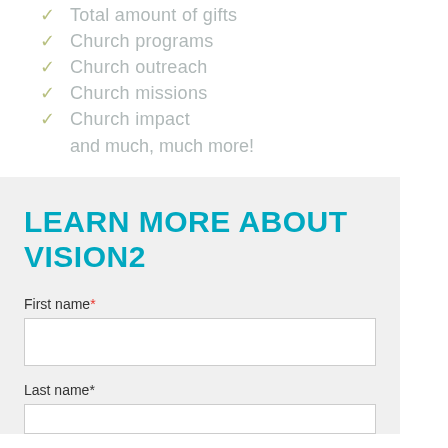Total amount of gifts
Church programs
Church outreach
Church missions
Church impact
and much, much more!
LEARN MORE ABOUT VISION2
First name*
Last name*